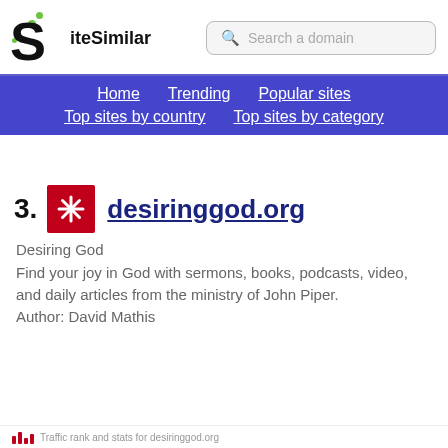SiteSimilar — Search a domain
Home   Trending   Popular sites   Top sites by country   Top sites by category
3. desiringgod.org — Desiring God. Find your joy in God with sermons, books, podcasts, video, and daily articles from the ministry of John Piper. Author: David Mathis